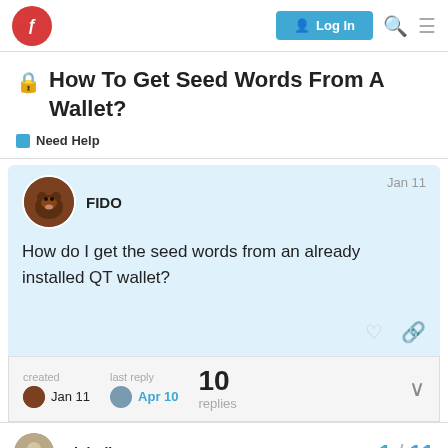Forum navigation bar with logo, Log In button, search and menu icons
🔒 How To Get Seed Words From A Wallet?
■ Need Help
FIDO — Jan 11
How do I get the seed words from an already installed QT wallet?
created Jan 11   last reply Apr 10   10 replies
DinkBlitz 🛡   1 / 11